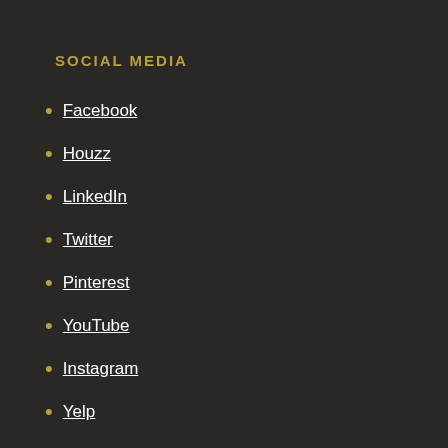SOCIAL MEDIA
Facebook
Houzz
LinkedIn
Twitter
Pinterest
YouTube
Instagram
Yelp